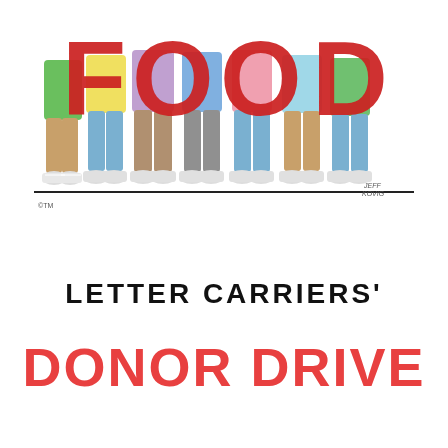[Figure (illustration): Comic-style illustration of cartoon children's legs and feet wearing sneakers, holding up large red letters spelling FOOD. The characters are shown from the waist down wearing colorful clothing. A horizontal black line runs below the illustration.]
LETTER CARRIERS'
DONOR DRIVE